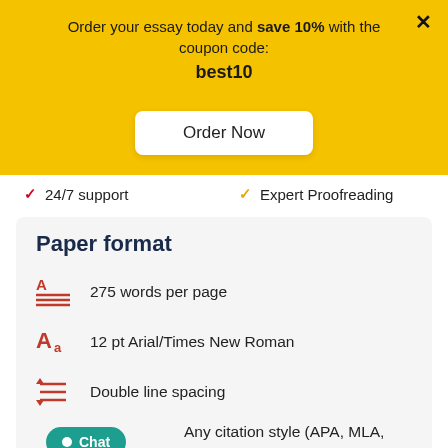Order your essay today and save 10% with the coupon code: best10
Order Now
24/7 support
Expert Proofreading
Paper format
275 words per page
12 pt Arial/Times New Roman
Double line spacing
Any citation style (APA, MLA, Chicago/Turabian, Harvard)